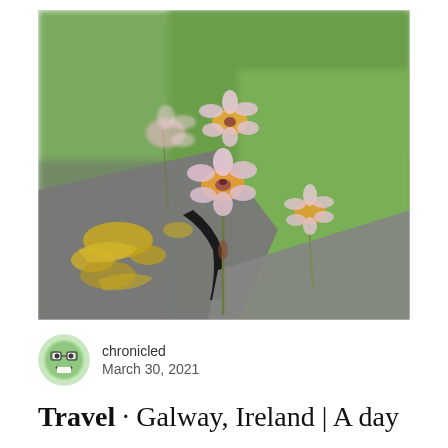[Figure (photo): Close-up photograph of small pink and yellow flowers growing from a crack between limestone rocks, with green grass in the background. The rocks have yellow lichen on them.]
chronicled
March 30, 2021
Travel · Galway, Ireland | A day